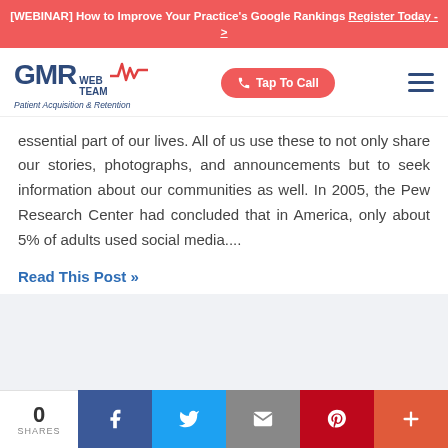[WEBINAR] How to Improve Your Practice's Google Rankings Register Today ->
[Figure (logo): GMR Web Team logo with Patient Acquisition & Retention tagline, Tap To Call button, and hamburger menu]
essential part of our lives. All of us use these to not only share our stories, photographs, and announcements but to seek information about our communities as well. In 2005, the Pew Research Center had concluded that in America, only about 5% of adults used social media....
Read This Post »
0 SHARES | Facebook | Twitter | Email | Pinterest | More